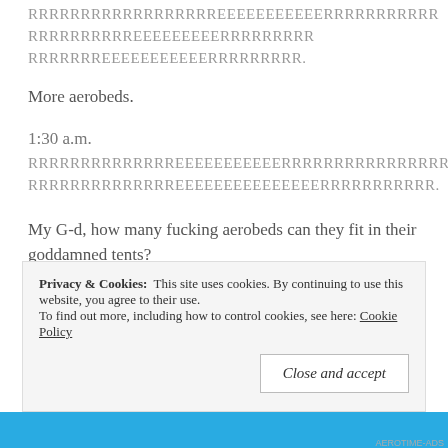RRRRRRRRRRRRRRRRRREEEEEEEEEEERRRRRRRRRRR RRRRRRRRRREEEEEEEEERRRRRRRRR RRRRRRREEEEEEEEEEERRRRRRRRR.
More aerobeds.
1:30 a.m.
RRRRRRRRRRRRRREEEEEEEEEEERRRRRRRRRRRRRRRR RRRRRRRRRRRRRREEEEEEEEEEEEEEERRRRRRRRRRR.
My G-d, how many fucking aerobeds can they fit in their goddamned tents?
Privacy & Cookies: This site uses cookies. By continuing to use this website, you agree to their use. To find out more, including how to control cookies, see here: Cookie Policy
Close and accept